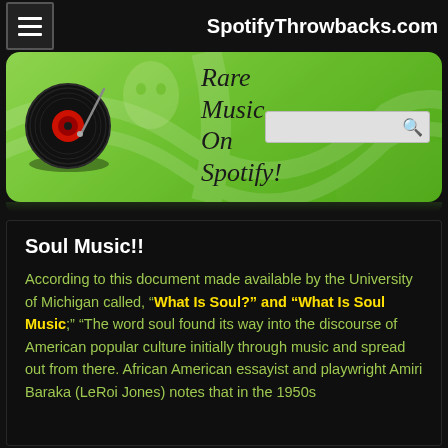SpotifyThrowbacks.com
[Figure (screenshot): Website banner for SpotifyThrowbacks.com showing a vinyl record graphic with text 'Rare Music On Spotify!' on a green gradient background with a search box]
Soul Music!!
According to this document made available by the University of Michigan called, “What Is Soul?” and “What Is Soul Music;” “The word soul found its way into the discourse of American popular culture initially through music and spread out from there. African American essayist and playwright Amiri Baraka (LeRoi Jones) notes that in the 1950s